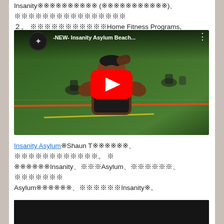Insanity（トレーニング）、トレーニングプログラム。 ２．ビーチボディHome Fitness Programs,
[Figure (screenshot): YouTube video thumbnail for '-NEW- Insanity Asylum Beach...' showing a muscular man on a sports field with other athletes in the background, with a red YouTube play button overlay.]
Insanity AsylumはShaun Tが制作した、トレーニングプログラム。 これはInsanity、またAsylum、後継作、上位版Asylumとも言え、Insanityの後継。
[Figure (screenshot): Bottom dark video thumbnail, partially visible.]